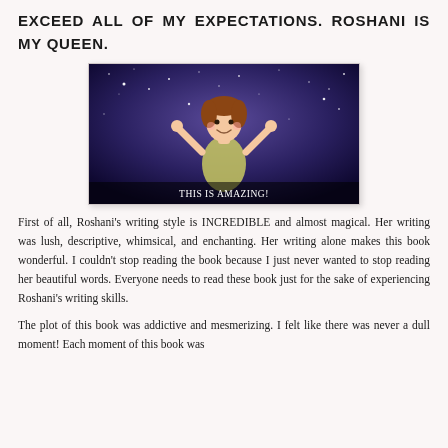EXCEED ALL OF MY EXPECTATIONS. ROSHANI IS MY QUEEN.
[Figure (photo): Screenshot from an animated movie (Frozen) showing a young girl with arms raised against a starry background, with subtitle text 'THIS IS AMAZING!']
First of all, Roshani's writing style is INCREDIBLE and almost magical. Her writing was lush, descriptive, whimsical, and enchanting. Her writing alone makes this book wonderful. I couldn't stop reading the book because I just never wanted to stop reading her beautiful words. Everyone needs to read these book just for the sake of experiencing Roshani's writing skills.
The plot of this book was addictive and mesmerizing. I felt like there was never a dull moment! Each moment of this book was